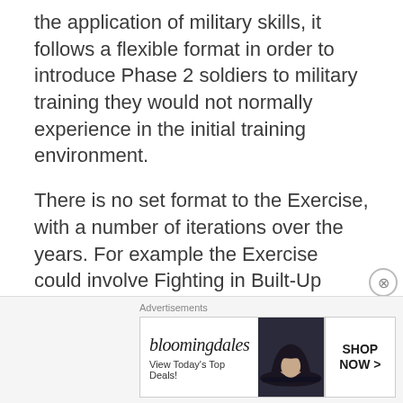the application of military skills, it follows a flexible format in order to introduce Phase 2 soldiers to military training they would not normally experience in the initial training environment.
There is no set format to the Exercise, with a number of iterations over the years. For example the Exercise could involve Fighting in Built-Up Areas (FIBUA) consisting of ground sign awareness, room clearance drills, explosive method of entry, manual methods of entry, fast-roping, urban casualty evacuation, battlefield casualty drills, vehicle anti-ambush drills and urban confidence course (think running through buildings, crawling
[Figure (other): Bloomingdale's advertisement banner with hat image, 'View Today's Top Deals!' tagline and 'SHOP NOW >' button]